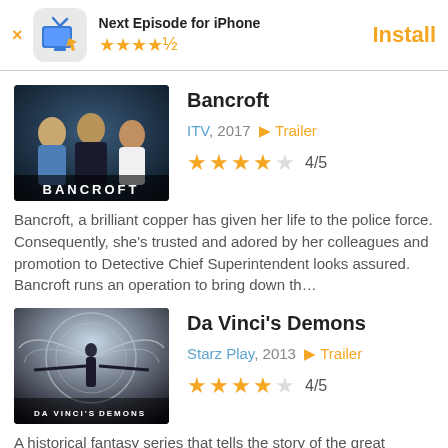[Figure (screenshot): App install banner: Next Episode for iPhone app icon (TV with pointer), 4.5 star rating, Install button in orange]
[Figure (photo): Bancroft TV show promotional image showing three women in dark clothing with BANCROFT text at bottom]
Bancroft
ITV, 2017  ▶ Trailer
4/5
Bancroft, a brilliant copper has given her life to the police force. Consequently, she's trusted and adored by her colleagues and promotion to Detective Chief Superintendent looks assured. Bancroft runs an operation to bring down th…
[Figure (photo): Da Vinci's Demons promotional image showing a figure with wings spread]
Da Vinci's Demons
Starz Play, 2013  ▶ Trailer
4/5
A historical fantasy series that tells the story of the great